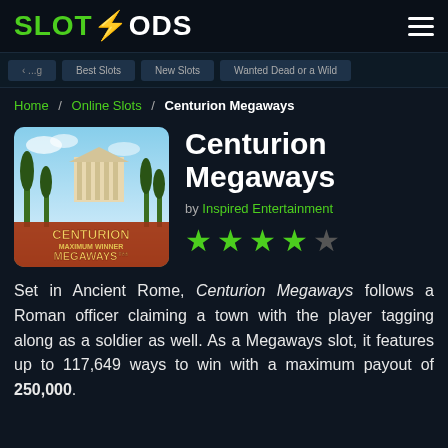SLOT GODS
Home / Online Slots / Centurion Megaways
[Figure (screenshot): Centurion Megaways slot game thumbnail showing Roman-themed imagery with 'CENTURION MEGAWAYS' text overlay, ancient buildings, cypress trees and sky background]
Centurion Megaways
by Inspired Entertainment
[Figure (infographic): 4 out of 5 green stars rating]
Set in Ancient Rome, Centurion Megaways follows a Roman officer claiming a town with the player tagging along as a soldier as well. As a Megaways slot, it features up to 117,649 ways to win with a maximum payout of 250,000.